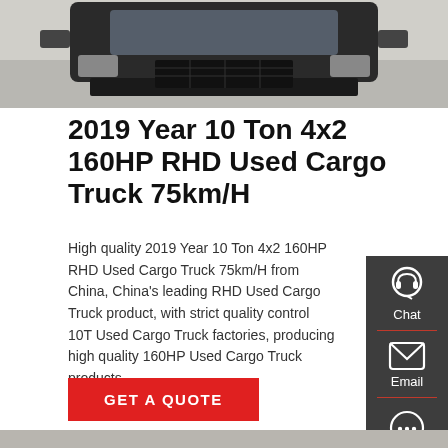[Figure (photo): Front view of a large truck cab photographed from above on a concrete surface]
2019 Year 10 Ton 4x2 160HP RHD Used Cargo Truck 75km/H
High quality 2019 Year 10 Ton 4x2 160HP RHD Used Cargo Truck 75km/H from China, China's leading RHD Used Cargo Truck product, with strict quality control 10T Used Cargo Truck factories, producing high quality 160HP Used Cargo Truck products.
[Figure (other): Sidebar widget with Chat, Email, and Contact icons on dark grey background]
GET A QUOTE
[Figure (photo): Red cargo truck cab photographed from the front/side angle in an outdoor setting]